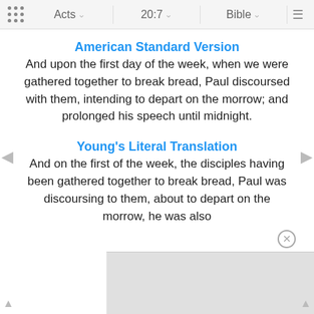Acts  20:7  Bible
American Standard Version
And upon the first day of the week, when we were gathered together to break bread, Paul discoursed with them, intending to depart on the morrow; and prolonged his speech until midnight.
Young's Literal Translation
And on the first of the week, the disciples having been gathered together to break bread, Paul was discoursing to them, about to depart on the morrow, he was also